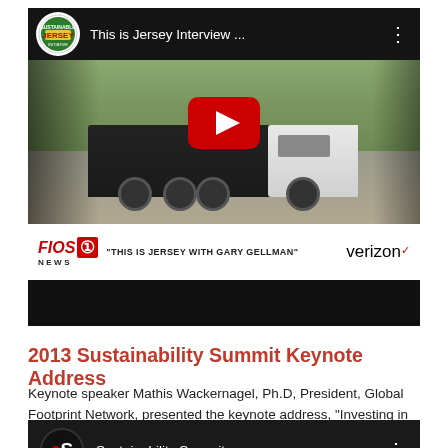[Figure (screenshot): YouTube video thumbnail showing 'This is Jersey Interview...' with a garbage truck on a residential street. Shows Fios 1 News lower third with text 'THIS IS JERSEY WITH GARY GELLMAN' and Verizon logo. Red YouTube play button visible.]
2013 Sustainability Summit Keynote Address
Keynote speaker Mathis Wackernagel, Ph.D, President, Global Footprint Network, presented the keynote address, "Investing in the Wealth of Nature"
[Figure (screenshot): YouTube video thumbnail showing 'Sustainability Summit a...' with a circular cS logo (c in red, S in white on dark background). Three-dot menu visible.]